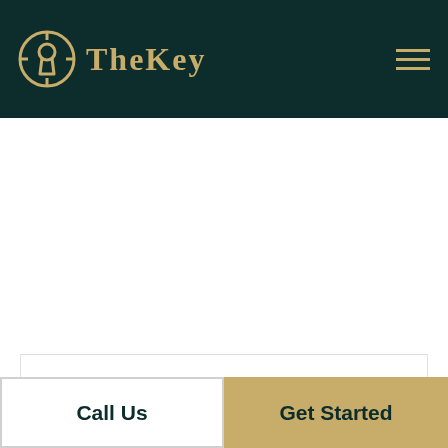TheKey
+ Filters   Sort By: Relevance ∨
[Figure (screenshot): Empty white content area with card placeholder outline]
Call Us
Get Started